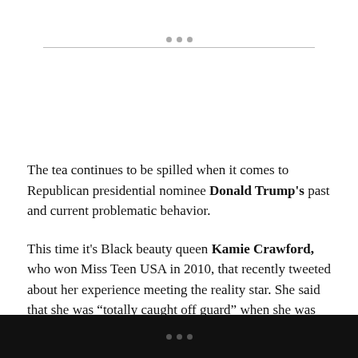The tea continues to be spilled when it comes to Republican presidential nominee Donald Trump's past and current problematic behavior.
This time it's Black beauty queen Kamie Crawford, who won Miss Teen USA in 2010, that recently tweeted about her experience meeting the reality star. She said that she was "totally caught off guard" when she was told that he "doesn't